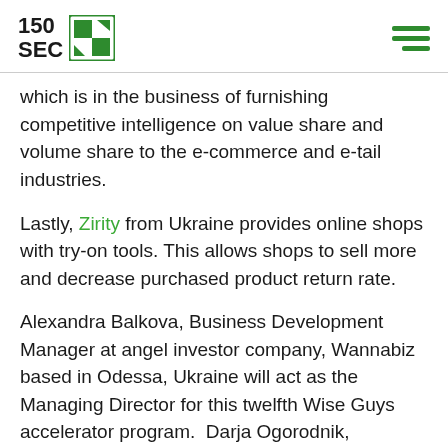150SEC
which is in the business of furnishing competitive intelligence on value share and volume share to the e-commerce and e-tail industries.
Lastly, Zirity from Ukraine provides online shops with try-on tools. This allows shops to sell more and decrease purchased product return rate.
Alexandra Balkova, Business Development Manager at angel investor company, Wannabiz based in Odessa, Ukraine will act as the Managing Director for this twelfth Wise Guys accelerator program.  Darja Ogorodnik, previously a Verification Specialist with Estonian startup Veriff is the Program Manager. Meanwhile, Startup Wise